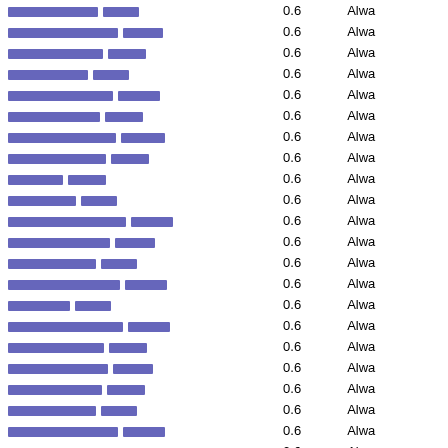| Link | Value | Status |
| --- | --- | --- |
| [redacted link] | 0.6 | Alwa |
| [redacted link] | 0.6 | Alwa |
| [redacted link] | 0.6 | Alwa |
| [redacted link] | 0.6 | Alwa |
| [redacted link] | 0.6 | Alwa |
| [redacted link] | 0.6 | Alwa |
| [redacted link] | 0.6 | Alwa |
| [redacted link] | 0.6 | Alwa |
| [redacted link] | 0.6 | Alwa |
| [redacted link] | 0.6 | Alwa |
| [redacted link] | 0.6 | Alwa |
| [redacted link] | 0.6 | Alwa |
| [redacted link] | 0.6 | Alwa |
| [redacted link] | 0.6 | Alwa |
| [redacted link] | 0.6 | Alwa |
| [redacted link] | 0.6 | Alwa |
| [redacted link] | 0.6 | Alwa |
| [redacted link] | 0.6 | Alwa |
| [redacted link] | 0.6 | Alwa |
| [redacted link] | 0.6 | Alwa |
| [redacted link] | 0.6 | Alwa |
| [redacted link] | 0.6 | Alwa |